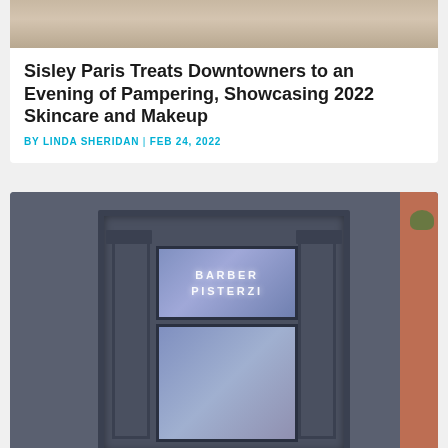[Figure (photo): Top portion of a photo showing an indistinct interior scene with warm tones]
Sisley Paris Treats Downtowners to an Evening of Pampering, Showcasing 2022 Skincare and Makeup
BY LINDA SHERIDAN | FEB 24, 2022
[Figure (photo): Exterior storefront photo of Barber Pisterzi, a grey painted building facade with ornate door frame, transom window displaying illuminated 'BARBER PISTERZI' sign, and main door below; brick wall visible on right side, plant/leaves in top right corner]